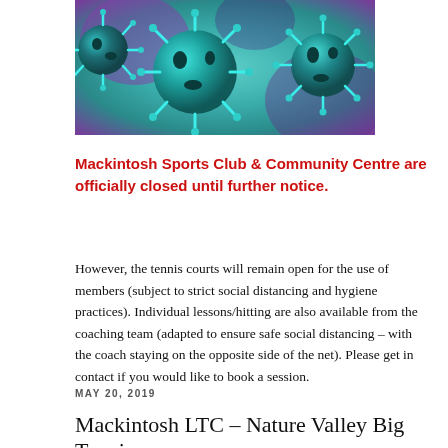[Figure (photo): Close-up illustration of coronavirus/virus particles with spike proteins on a teal and purple background]
Mackintosh Sports Club & Community Centre are officially closed until further notice.
However, the tennis courts will remain open for the use of members (subject to strict social distancing and hygiene practices). Individual lessons/hitting are also available from the coaching team (adapted to ensure safe social distancing – with the coach staying on the opposite side of the net). Please get in contact if you would like to book a session.
MAY 20, 2019
Mackintosh LTC – Nature Valley Big Tennis